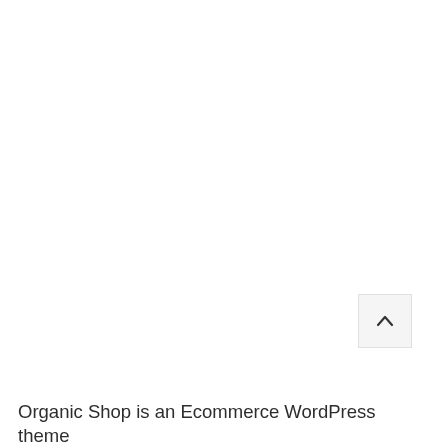[Figure (screenshot): A scroll-to-top button (chevron up arrow) on a white background, positioned near the bottom-right of the page]
Organic Shop is an Ecommerce WordPress theme